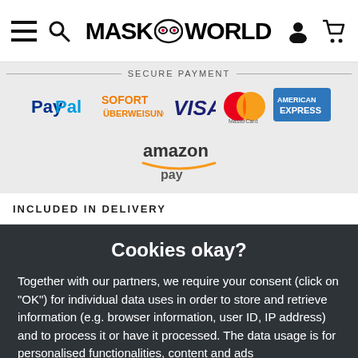MASK WORLD — navigation header with hamburger, search, logo, user and cart icons
[Figure (infographic): Secure Payment logos: PayPal, SOFORT Überweisung, VISA, MasterCard, American Express, Amazon Pay]
INCLUDED IN DELIVERY
Cookies okay?
Together with our partners, we require your consent (click on "OK") for individual data uses in order to store and retrieve information (e.g. browser information, user ID, IP address) and to process it or have it processed. The data usage is for personalised functionalities, content and ads
OK